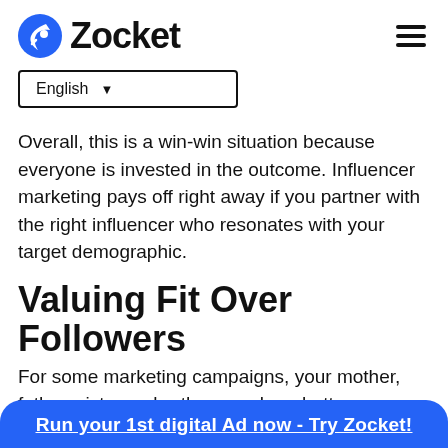Zocket
English
Overall, this is a win-win situation because everyone is invested in the outcome. Influencer marketing pays off right away if you partner with the right influencer who resonates with your target demographic.
Valuing Fit Over Followers
For some marketing campaigns, your mother, father, sister, or brother may be a better influencer
Run your 1st digital Ad now - Try Zocket!